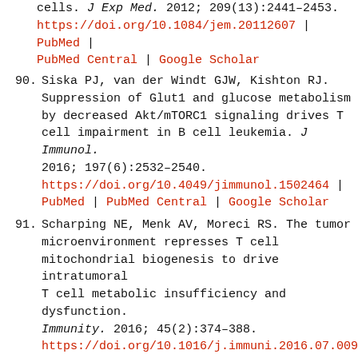cells. J Exp Med. 2012; 209(13):2441–2453. https://doi.org/10.1084/jem.20112607 | PubMed | PubMed Central | Google Scholar
90. Siska PJ, van der Windt GJW, Kishton RJ. Suppression of Glut1 and glucose metabolism by decreased Akt/mTORC1 signaling drives T cell impairment in B cell leukemia. J Immunol. 2016; 197(6):2532–2540. https://doi.org/10.4049/jimmunol.1502464 | PubMed | PubMed Central | Google Scholar
91. Scharping NE, Menk AV, Moreci RS. The tumor microenvironment represses T cell mitochondrial biogenesis to drive intratumoral T cell metabolic insufficiency and dysfunction. Immunity. 2016; 45(2):374–388. https://doi.org/10.1016/j.immuni.2016.07.009 | PubMed | PubMed Central | Google Scholar
92. Siska PJ, Rathmell JC. T cell metabolic fitness